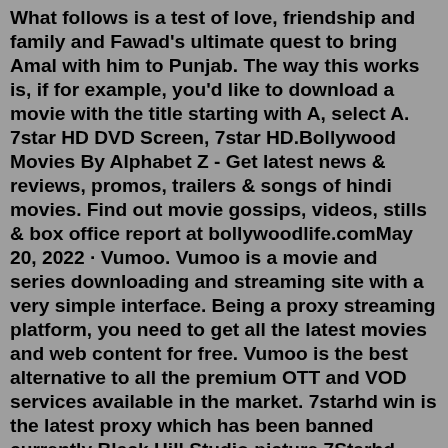What follows is a test of love, friendship and family and Fawad's ultimate quest to bring Amal with him to Punjab. The way this works is, if for example, you'd like to download a movie with the title starting with A, select A. 7star HD DVD Screen, 7star HD.Bollywood Movies By Alphabet Z - Get latest news & reviews, promos, trailers & songs of hindi movies. Find out movie gossips, videos, stills & box office report at bollywoodlife.comMay 20, 2022 · Vumoo. Vumoo is a movie and series downloading and streaming site with a very simple interface. Being a proxy streaming platform, you need to get all the latest movies and web content for free. Vumoo is the best alternative to all the premium OTT and VOD services available in the market. 7starhd win is the latest proxy which has been banned currently Black Hill Studio picture 7Starhd - 7starhd win Watch and Download free HD movies Start 7StarHD 2020: 7starhd Bollywood Movies Download Illegal, Hollywood Hindi Dubbed Movies Latest Hi guys watch this video for easy downloading from 7starhd